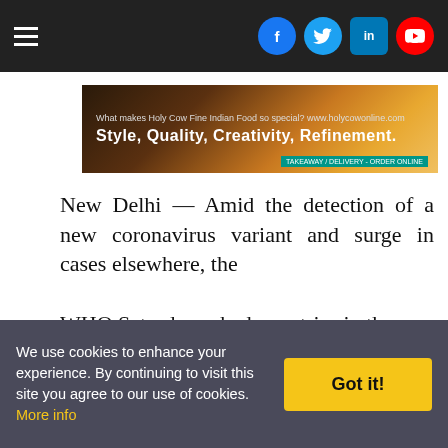Navigation bar with hamburger menu and social icons (Facebook, Twitter, LinkedIn, YouTube)
[Figure (photo): Holy Cow Fine Indian Food advertisement banner: 'Style, Quality, Creativity, Refinement.' with website www.holycowonline.com]
New Delhi — Amid the detection of a new coronavirus variant and surge in cases elsewhere, the WHO Saturday asked countries in the southeast Asia region to scale up surveillance, strengthen public health
We use cookies to enhance your experience. By continuing to visit this site you agree to our use of cookies. More info